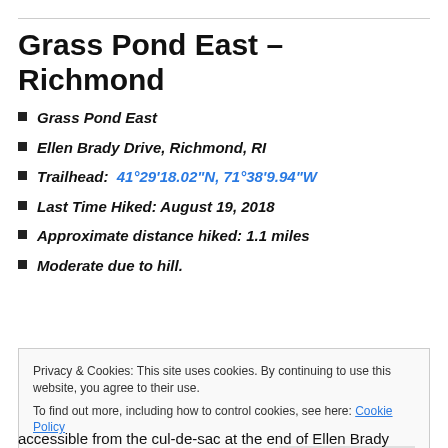Grass Pond East – Richmond
Grass Pond East
Ellen Brady Drive, Richmond, RI
Trailhead:  41°29'18.02"N, 71°38'9.94"W
Last Time Hiked: August 19, 2018
Approximate distance hiked: 1.1 miles
Moderate due to hill.
Privacy & Cookies: This site uses cookies. By continuing to use this website, you agree to their use.
To find out more, including how to control cookies, see here: Cookie Policy
accessible from the cul-de-sac at the end of Ellen Brady